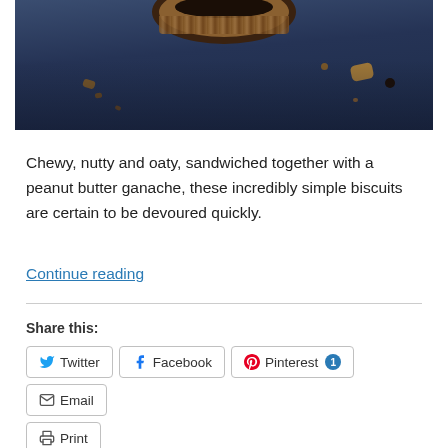[Figure (photo): Close-up photo of a chocolate oat biscuit/cookie sandwich on a dark blue surface with crumbs scattered around]
Chewy, nutty and oaty, sandwiched together with a peanut butter ganache, these incredibly simple biscuits are certain to be devoured quickly.
Continue reading
Share this:
Twitter
Facebook
Pinterest
Email
Print